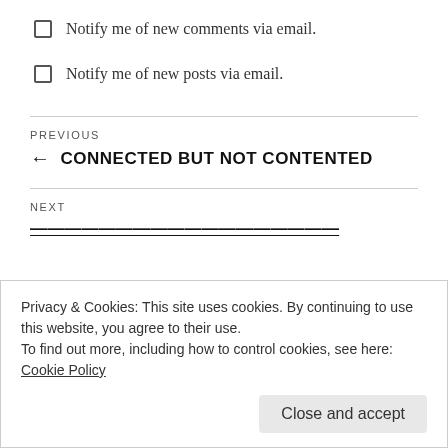Notify me of new comments via email.
Notify me of new posts via email.
PREVIOUS
← CONNECTED BUT NOT CONTENTED
NEXT
Privacy & Cookies: This site uses cookies. By continuing to use this website, you agree to their use.
To find out more, including how to control cookies, see here: Cookie Policy
Close and accept